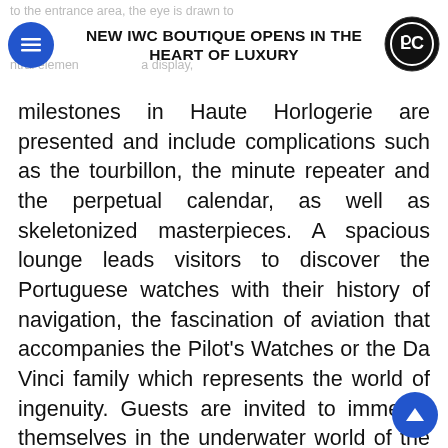NEW IWC BOUTIQUE OPENS IN THE HEART OF LUXURY
milestones in Haute Horlogerie are presented and include complications such as the tourbillon, the minute repeater and the perpetual calendar, as well as skeletonized masterpieces. A spacious lounge leads visitors to discover the Portuguese watches with their history of navigation, the fascination of aviation that accompanies the Pilot's Watches or the Da Vinci family which represents the world of ingenuity. Guests are invited to immerse themselves in the underwater world of the Aquatimer diver's watches and to explore the identity of the Ingenieur's world of engineering. Finally, a trip to the picturesque little harbour town that lends its name to the